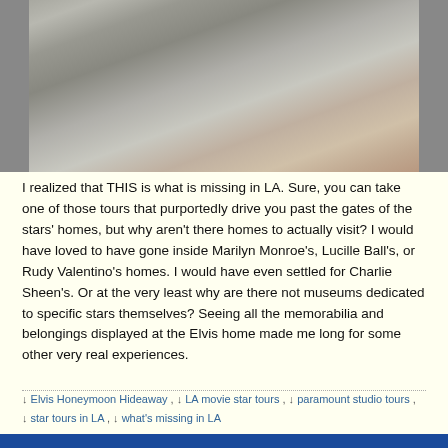[Figure (photo): Photo of Tom Hanks' handprints/footprints in cement at the Chinese Theatre Hollywood, with 'Tom Hanks' signature written in the cement, viewed from above, image appears inverted/mirrored]
I realized that THIS is what is missing in LA. Sure, you can take one of those tours that purportedly drive you past the gates of the stars' homes, but why aren't there homes to actually visit? I would have loved to have gone inside Marilyn Monroe's, Lucille Ball's, or Rudy Valentino's homes. I would have even settled for Charlie Sheen's. Or at the very least why are there not museums dedicated to specific stars themselves? Seeing all the memorabilia and belongings displayed at the Elvis home made me long for some other very real experiences.
↓ Elvis Honeymoon Hideaway , ↓ LA movie star tours , ↓ paramount studio tours , ↓ star tours in LA , ↓ what's missing in LA